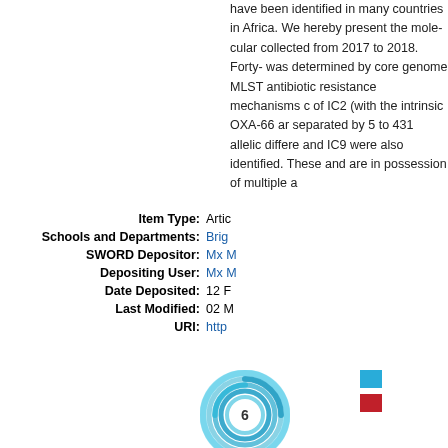have been identified in many countries in Africa. We hereby present the molecular epidemiology collected from 2017 to 2018. Forty- was determined by core genome MLST antibiotic resistance mechanisms c of IC2 (with the intrinsic OXA-66 ar separated by 5 to 431 allelic differe and IC9 were also identified. These and are in possession of multiple a
Item Type: Article
Schools and Departments: Brig
SWORD Depositor: Mx
Depositing User: Mx
Date Deposited: 12 F
Last Modified: 02 M
URI: http
[Figure (other): Altmetric donut badge showing score of 6 with concentric blue ring design]